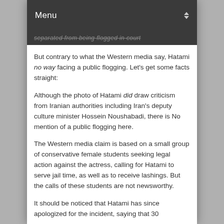Menu
But contrary to what the Western media say, Hatami no way facing a public flogging. Let's get some facts straight:
Although the photo of Hatami did draw criticism from Iranian authorities including Iran's deputy culture minister Hossein Noushabadi, there is No mention of a public flogging here.
The Western media claim is based on a small group of conservative female students seeking legal action against the actress, calling for Hatami to serve jail time, as well as to receive lashings. But the calls of these students are not newsworthy.
It should be noticed that Hatami has since apologized for the incident, saying that 30…